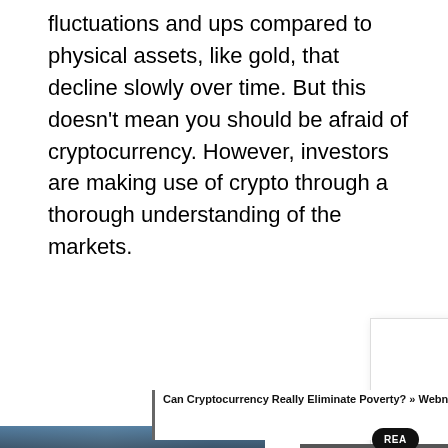fluctuations and ups compared to physical assets, like gold, that decline slowly over time. But this doesn't mean you should be afraid of cryptocurrency. However, investors are making use of crypto through a thorough understanding of the markets.
[Figure (screenshot): A white card/overlay UI element showing a 'READ' button (partially visible, black pill button) and a 'Contact Us' box (white card with shadow). Below that is an article link with a left border bar reading 'Can Cryptocurrency Really Eliminate Poverty? » Webnews2' in bold. A partial airplane/cargo image is visible at the bottom left. A TV channel logo (channel 21, black with green dot) is shown at bottom right. A dark banner reads 'WITHOUT REGARD TO POLITICS, RELIGION, OR ABILITY TO PAY' at the bottom.]